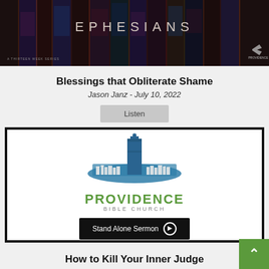[Figure (photo): Stained glass church windows with 'EPHESIANS' text overlay, labeled 'A THIRTEEN WEEK SERIES' - Providence Bible Church series thumbnail]
Blessings that Obliterate Shame
Jason Janz - July 10, 2022
Listen
[Figure (logo): Providence Bible Church logo with blue stylized church building/skyline graphic above the text 'PROVIDENCE BIBLE CHURCH' with a 'Stand Alone Sermon' play button below]
How to Kill Your Inner Judge
Jason Janz - June 26, 2022
Listen